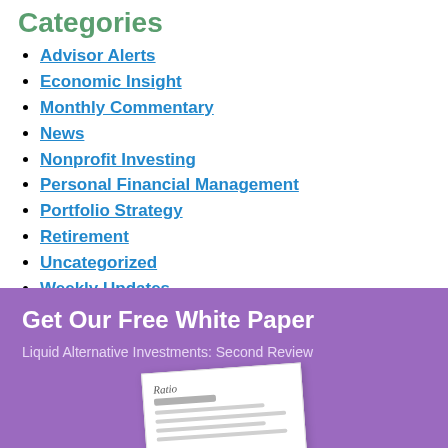Categories
Advisor Alerts
Economic Insight
Monthly Commentary
News
Nonprofit Investing
Personal Financial Management
Portfolio Strategy
Retirement
Uncategorized
Weekly Updates
Get Our Free White Paper
Liquid Alternative Investments: Second Review
[Figure (illustration): White paper document thumbnail shown at an angle on purple background]